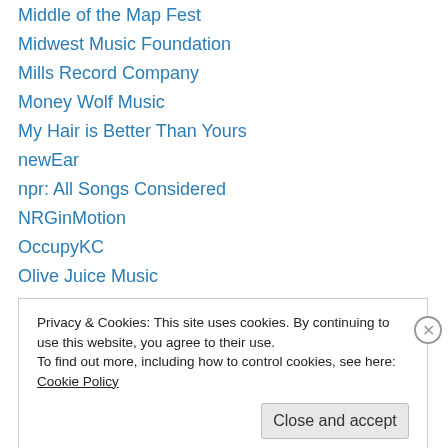Middle of the Map Fest
Midwest Music Foundation
Mills Record Company
Money Wolf Music
My Hair is Better Than Yours
newEar
npr: All Songs Considered
NRGinMotion
OccupyKC
Olive Juice Music
Outer Reaches Fest
Owen/Cox Dance Group
Paragon Radio
Privacy & Cookies: This site uses cookies. By continuing to use this website, you agree to their use. To find out more, including how to control cookies, see here: Cookie Policy
Close and accept